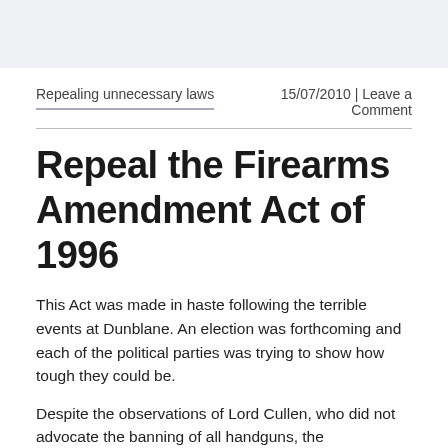Repealing unnecessary laws
15/07/2010 | Leave a Comment
Repeal the Firearms Amendment Act of 1996
This Act was made in haste following the terrible events at Dunblane. An election was forthcoming and each of the political parties was trying to show how tough they could be.
Despite the observations of Lord Cullen, who did not advocate the banning of all handguns, the Government of the day decided to ban all larger calibre pistols, the incooming Government banned all of them.  In effect they